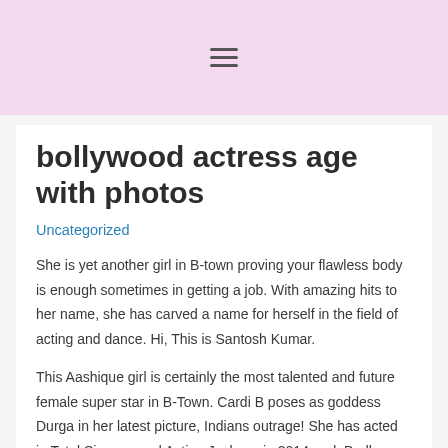≡
bollywood actress age with photos
Uncategorized
She is yet another girl in B-town proving your flawless body is enough sometimes in getting a job. With amazing hits to her name, she has carved a name for herself in the field of acting and dance. Hi, This is Santosh Kumar.
This Aashique girl is certainly the most talented and future female super star in B-Town. Cardi B poses as goddess Durga in her latest picture, Indians outrage! She has acted in Total Siyappa and Action Jackson in 2014 and, Badlapur in 2015 against Varun